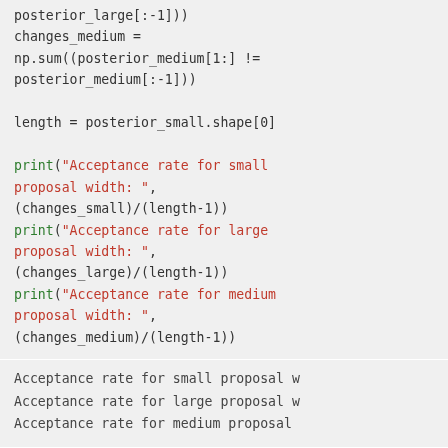np.sum((posterior_large[1:] != posterior_large[:-1]))
changes_medium = np.sum((posterior_medium[1:] != posterior_medium[:-1]))

length = posterior_small.shape[0]

print("Acceptance rate for small proposal width: ", (changes_small)/(length-1))
print("Acceptance rate for large proposal width: ", (changes_large)/(length-1))
print("Acceptance rate for medium proposal width: ", (changes_medium)/(length-1))
Acceptance rate for small proposal w
Acceptance rate for large proposal w
Acceptance rate for medium proposal
Contents © 2021 - Powered by Nikola